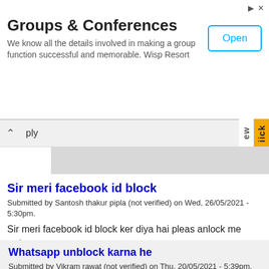[Figure (infographic): Advertisement banner for Groups & Conferences by Wisp Resort with an Open button]
ply  ew  ick
Sir meri facebook id block
Submitted by Santosh thakur pipla (not verified) on Wed, 26/05/2021 - 5:30pm.
Sir meri facebook id block ker diya hai pleas anlock me
reply
Whatsapp unblock karna he
Submitted by Vikram rawat (not verified) on Thu, 20/05/2021 - 5:39pm.
Whatsapp unblock karna he